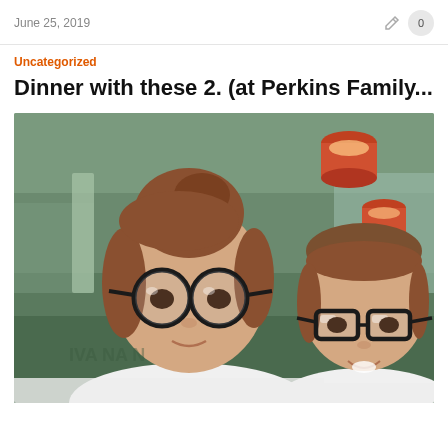June 25, 2019
Uncategorized
Dinner with these 2. (at Perkins Family...
[Figure (photo): Two children sitting in a restaurant booth. The older child on the left has brown hair in a bun and wears round black glasses and a white shirt. The younger child on the right has short hair and wears black rectangular glasses and a white shirt. Red pendant lights hang from the ceiling. Green booth seating and restaurant interior visible in background.]